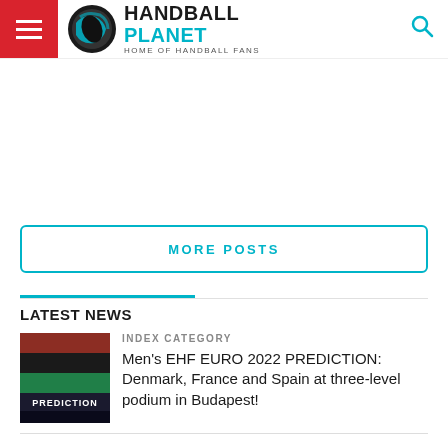Handball Planet — Home of Handball Fans
[Figure (other): Advertisement / blank area]
MORE POSTS
LATEST NEWS
INDEX CATEGORY
Men's EHF EURO 2022 PREDICTION: Denmark, France and Spain at three-level podium in Budapest!